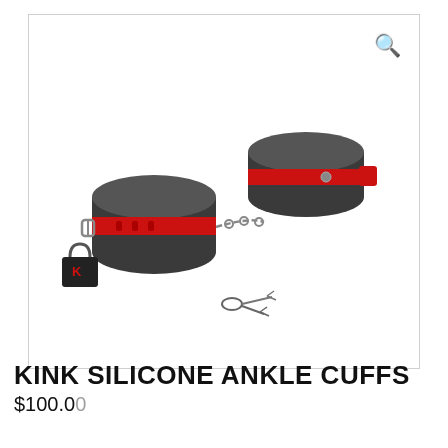[Figure (photo): Product photo of Kink Silicone Ankle Cuffs — two black silicone cuffs with red straps, connected by a chain, with a black padlock and keys shown in front on white background. A magnifying glass (search) icon appears in the upper right corner of the image frame.]
KINK SILICONE ANKLE CUFFS
$100.00